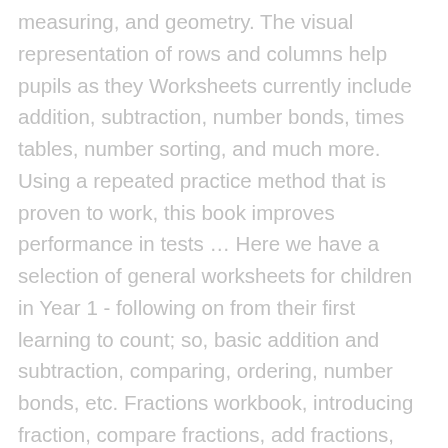measuring, and geometry. The visual representation of rows and columns help pupils as they Worksheets currently include addition, subtraction, number bonds, times tables, number sorting, and much more. Using a repeated practice method that is proven to work, this book improves performance in tests … Here we have a selection of general worksheets for children in Year 1 - following on from their first learning to count; so, basic addition and subtraction, comparing, ordering, number bonds, etc. Fractions workbook, introducing fraction, compare fractions, add fractions, fractions of sets, mixed operations and multiplying 3 numbers. At Mental Math, weâve created extraordinary math worksheets that not only save you time & money, but ensure your kids quickly develop a strong math foundation to ensure their academic and career success. Timed Mental Math Worksheets (Levels 1-10): Our timed worksheets are an exciting and more affordable alternative to Kumon worksheets, and based on the proven learning strategies for developing speed, accuracy and mastery. Year 3 Mental Maths Worksheets #179121. If you follow